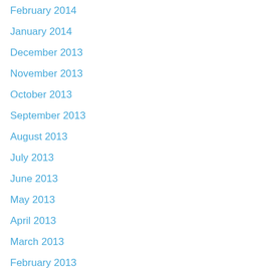February 2014
January 2014
December 2013
November 2013
October 2013
September 2013
August 2013
July 2013
June 2013
May 2013
April 2013
March 2013
February 2013
January 2013
December 2012
November 2012
October 2012
August 2012
July 2012
June 2012